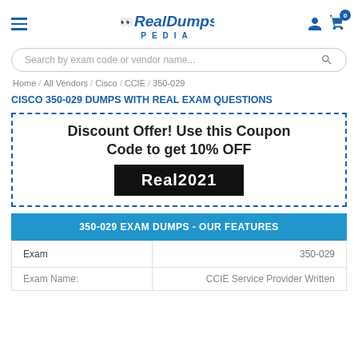[Figure (logo): RealDumpsPedia logo with owl icon]
Search by exam code or vendor name...
Home / All Vendors / Cisco / CCIE / 350-029
CISCO 350-029 DUMPS WITH REAL EXAM QUESTIONS
Discount Offer! Use this Coupon Code to get 10% OFF
Real2021
| 350-029 EXAM DUMPS - OUR FEATURES |  |
| --- | --- |
| Exam | 350-029 |
| Exam Name: | CCIE Service Provider Written |